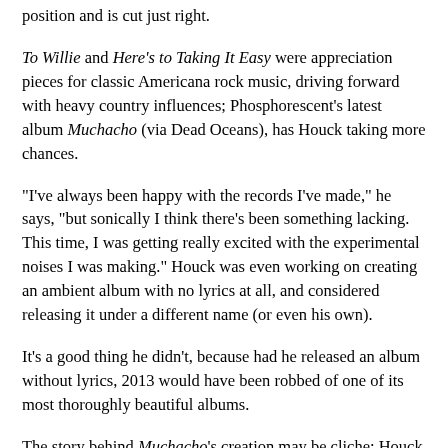position and is cut just right.
To Willie and Here's to Taking It Easy were appreciation pieces for classic Americana rock music, driving forward with heavy country influences; Phosphorescent's latest album Muchacho (via Dead Oceans), has Houck taking more chances.
"I've always been happy with the records I've made," he says, "but sonically I think there's been something lacking. This time, I was getting really excited with the experimental noises I was making." Houck was even working on creating an ambient album with no lyrics at all, and considered releasing it under a different name (or even his own).
It's a good thing he didn't, because had he released an album without lyrics, 2013 would have been robbed of one of its most thoroughly beautiful albums.
The story behind Muchacho's creation may be cliche; Houck even admits this to be somewhat true... but that doesn't make it any less inspiring.